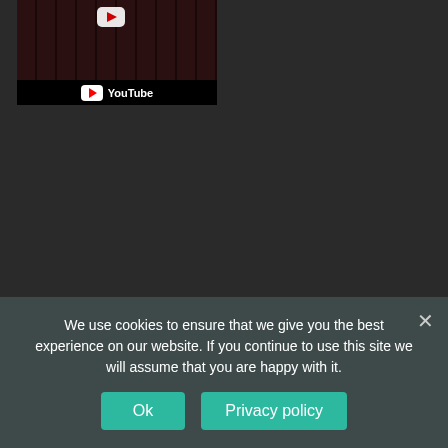[Figure (screenshot): YouTube video player embedded in a dark webpage. Shows a thumbnail of hands on a typewriter keyboard at top left, with YouTube logo and play button. Video controls at the bottom show play button, time 00:00, progress bar, duration 10:09, and fullscreen button.]
We use cookies to ensure that we give you the best experience on our website. If you continue to use this site we will assume that you are happy with it.
Ok
Privacy policy